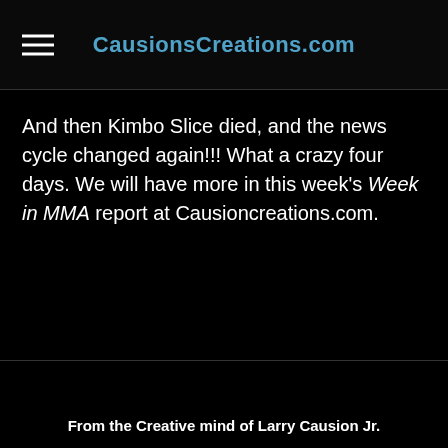CausionsCreations.com
And then Kimbo Slice died, and the news cycle changed again!!! What a crazy four days. We will have more in this week's Week in MMA report at Causioncreations.com.
From the Creative mind of Larry Causion Jr.